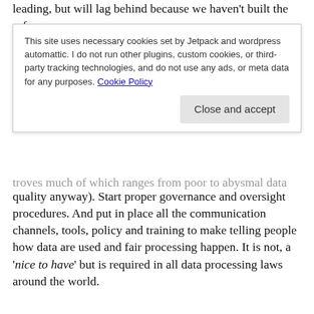leading, but will lag behind because we haven't built the safe
This site uses necessary cookies set by Jetpack and wordpress automattic. I do not run other plugins, custom cookies, or third-party tracking technologies, and do not use any ads, or meta data for any purposes. Cookie Policy
troves much of which ranges from poor to abysmal data quality anyway). Start proper governance and oversight procedures. And put in place all the communication channels, tools, policy and training to make telling people how data are used and fair processing happen. It is not, a ‘nice to have’ but is required in all data processing laws around the world.
Any genuine “barriers” to data use in data protection law, are designed as protections for people; the people the public sector, its staff and these arms length bodies are supposed to serve.
Blaming algorithms, blaming lack of clarity in the law, blaming